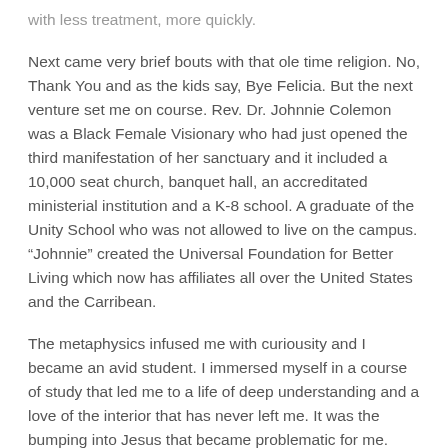with less treatment, more quickly.
Next came very brief bouts with that ole time religion. No, Thank You and as the kids say, Bye Felicia. But the next venture set me on course. Rev. Dr. Johnnie Colemon was a Black Female Visionary who had just opened the third manifestation of her sanctuary and it included a 10,000 seat church, banquet hall, an accreditated ministerial institution and a K-8 school. A graduate of the Unity School who was not allowed to live on the campus. “Johnnie” created the Universal Foundation for Better Living which now has affiliates all over the United States and the Carribean.
The metaphysics infused me with curiousity and I became an avid student. I immersed myself in a course of study that led me to a life of deep understanding and a love of the interior that has never left me. It was the bumping into Jesus that became problematic for me. Even when he was called Jesus The Christ, it just wasn’t a good fit. Initially I loved him